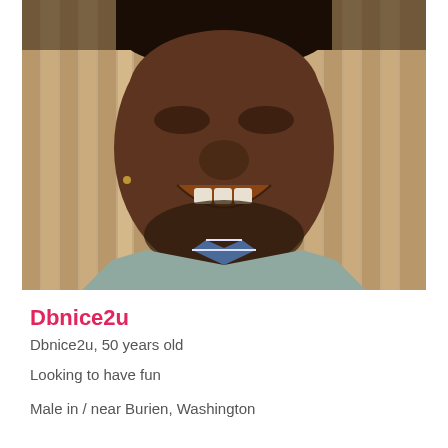[Figure (photo): Close-up selfie photo of a smiling middle-aged Black man with short dreadlocks and a beard, wearing a light grey blazer over a blue and white gingham/checkered shirt. Background shows vertical wooden slats. Photo is cropped tightly showing face and upper chest.]
Dbnice2u
Dbnice2u, 50 years old
Looking to have fun
Male in / near Burien, Washington